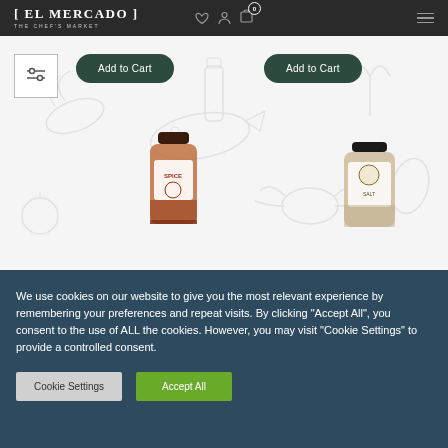[ EL MERCADO ] The Chef's Market
[Figure (screenshot): E-commerce product page for El Mercado - The Chef's Market, showing two spice jars with Add to Cart buttons and food illustration background]
We use cookies on our website to give you the most relevant experience by remembering your preferences and repeat visits. By clicking “Accept All”, you consent to the use of ALL the cookies. However, you may visit "Cookie Settings" to provide a controlled consent.
Cookie Settings
Accept All